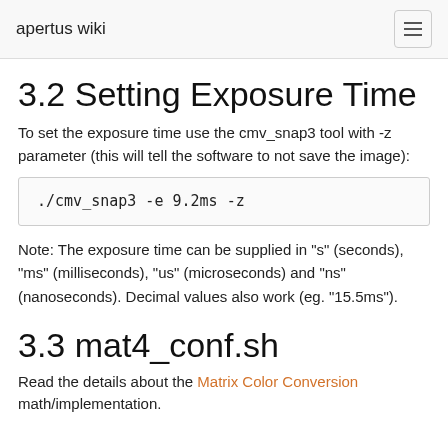apertus wiki
3.2 Setting Exposure Time
To set the exposure time use the cmv_snap3 tool with -z parameter (this will tell the software to not save the image):
./cmv_snap3 -e 9.2ms -z
Note: The exposure time can be supplied in "s" (seconds), "ms" (milliseconds), "us" (microseconds) and "ns" (nanoseconds). Decimal values also work (eg. "15.5ms").
3.3 mat4_conf.sh
Read the details about the Matrix Color Conversion math/implementation.